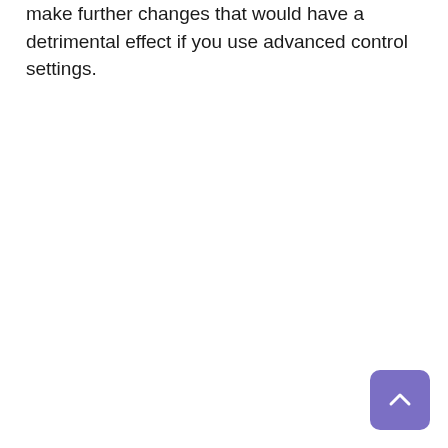make further changes that would have a detrimental effect if you use advanced control settings.
[Figure (other): Back to top button — a rounded purple square with a white upward-pointing chevron arrow]